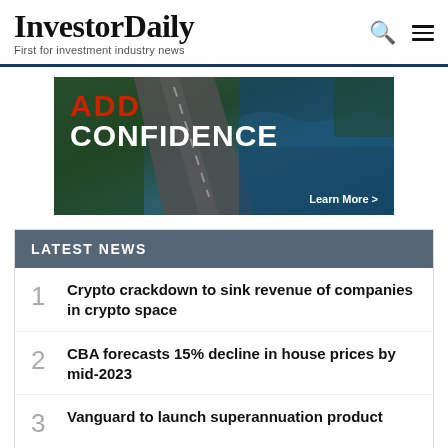InvestorDaily — First for investment industry news
[Figure (infographic): Advertisement banner with aerial road/forest/ocean photo background, text reading 'ADD CONFIDENCE' and 'Learn More >']
LATEST NEWS
1. Crypto crackdown to sink revenue of companies in crypto space
2. CBA forecasts 15% decline in house prices by mid-2023
3. Vanguard to launch superannuation product